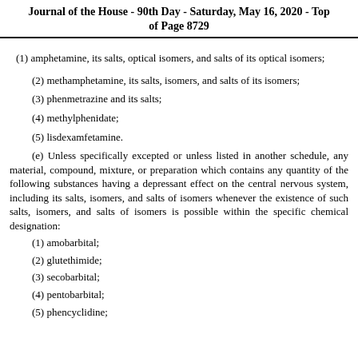Journal of the House - 90th Day - Saturday, May 16, 2020 - Top of Page 8729
(1) amphetamine, its salts, optical isomers, and salts of its optical isomers;
(2) methamphetamine, its salts, isomers, and salts of its isomers;
(3) phenmetrazine and its salts;
(4) methylphenidate;
(5) lisdexamfetamine.
(e) Unless specifically excepted or unless listed in another schedule, any material, compound, mixture, or preparation which contains any quantity of the following substances having a depressant effect on the central nervous system, including its salts, isomers, and salts of isomers whenever the existence of such salts, isomers, and salts of isomers is possible within the specific chemical designation:
(1) amobarbital;
(2) glutethimide;
(3) secobarbital;
(4) pentobarbital;
(5) phencyclidine;